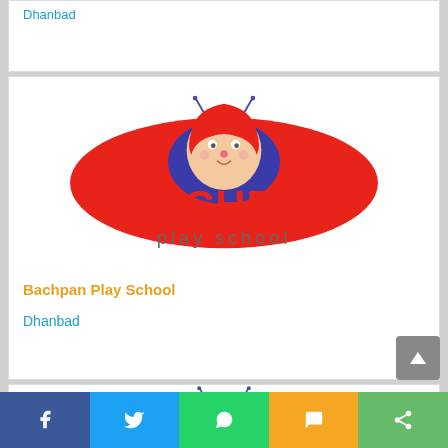Dhanbad
[Figure (logo): Bachpan Play School logo with cartoon child in red costume and antenna, with red text BACHPAN and grey text play school]
Bachpan Play School
Dhanbad
[Figure (logo): Bachpan Play School logo (partial, bottom of page)]
Facebook | Twitter | WhatsApp | SMS | Share